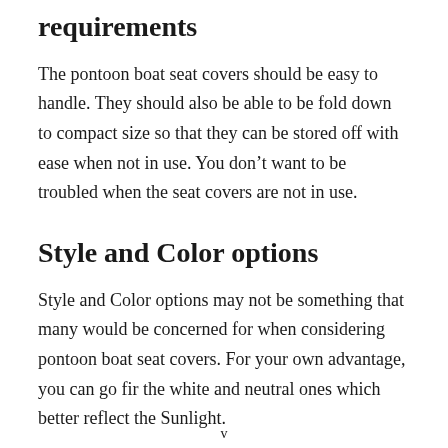requirements
The pontoon boat seat covers should be easy to handle. They should also be able to be fold down to compact size so that they can be stored off with ease when not in use. You don’t want to be troubled when the seat covers are not in use.
Style and Color options
Style and Color options may not be something that many would be concerned for when considering pontoon boat seat covers. For your own advantage, you can go fir the white and neutral ones which better reflect the Sunlight.
v